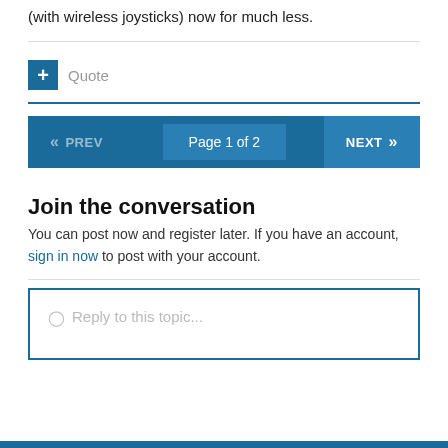(with wireless joysticks) now for much less.
Quote
« PREV   Page 1 of 2   NEXT »
Join the conversation
You can post now and register later. If you have an account, sign in now to post with your account.
Reply to this topic...